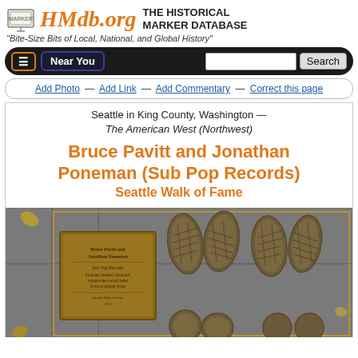HMdb.org THE HISTORICAL MARKER DATABASE
"Bite-Size Bits of Local, National, and Global History"
Add Photo — Add Link — Add Commentary — Correct this page
Seattle in King County, Washington — The American West (Northwest)
Bruce Pavitt and Jonathan Poneman (Sub Pop Records) Seattle Walk of Fame
[Figure (photo): Photo of a Seattle Walk of Fame sidewalk plaque for Bruce Pavitt and Jonathan Poneman, with four shoe/footprint impressions in concrete and a bronze placard, set into a grey sidewalk with gold border lines.]